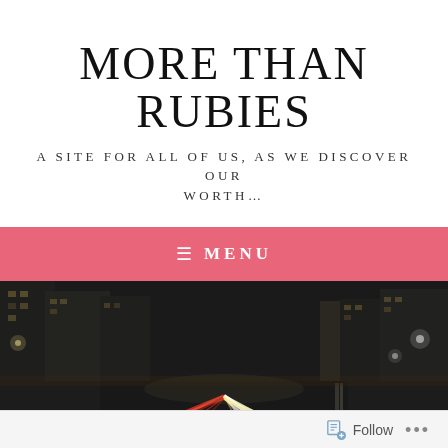MORE THAN RUBIES
A SITE FOR ALL OF US, AS WE DISCOVER OUR WORTH...
≡  MENU
[Figure (photo): Night-time long-exposure photograph of a busy urban road with light trails from car headlights and taillights, tall buildings on either side, and a 30 mph speed limit sign visible]
Follow ...